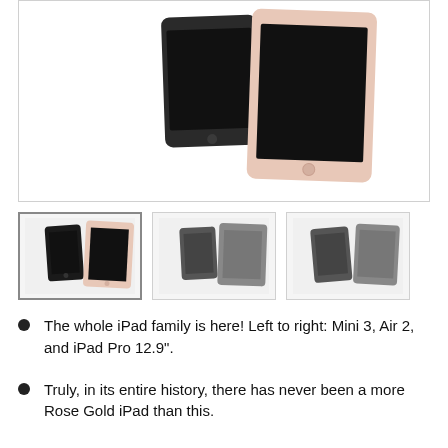[Figure (photo): Two iPad tablets side by side - a smaller dark Space Gray iPad and a larger Rose Gold iPad Pro, photographed against a white background.]
[Figure (photo): Thumbnail 1: Two iPads side by side, black/dark models viewed at slight angle.]
[Figure (photo): Thumbnail 2: Two iPads side by side, dark gray models viewed at slight angle.]
[Figure (photo): Thumbnail 3: Two iPads side by side, dark gray models viewed at slight angle, slightly different pose.]
The whole iPad family is here! Left to right: Mini 3, Air 2, and iPad Pro 12.9".
Truly, in its entire history, there has never been a more Rose Gold iPad than this.